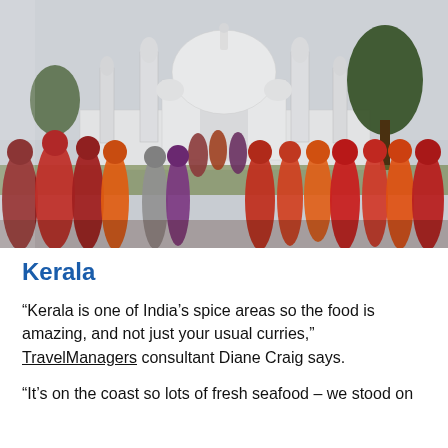[Figure (photo): Photo of people in colorful traditional Indian saris standing in front of the Taj Mahal, Agra, India. The Taj Mahal's white dome and minarets are visible in the hazy background. A large tree stands to the right.]
Kerala
“Kerala is one of India’s spice areas so the food is amazing, and not just your usual curries,” TravelManagers consultant Diane Craig says.
“It’s on the coast so lots of fresh seafood – we stood on